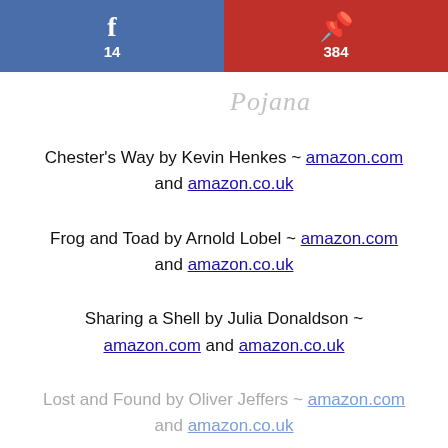[Figure (infographic): Social share bar with Facebook (14 shares, blue) on left and Pinterest (384 saves, red) on right]
[Figure (illustration): Cursive/script signature in light gray reading 'Pojana' or similar]
Chester's Way by Kevin Henkes ~ amazon.com and amazon.co.uk
Frog and Toad by Arnold Lobel ~ amazon.com and amazon.co.uk
Sharing a Shell by Julia Donaldson ~ amazon.com and amazon.co.uk
Lost and Found by Oliver Jeffers ~ amazon.com and amazon.co.uk